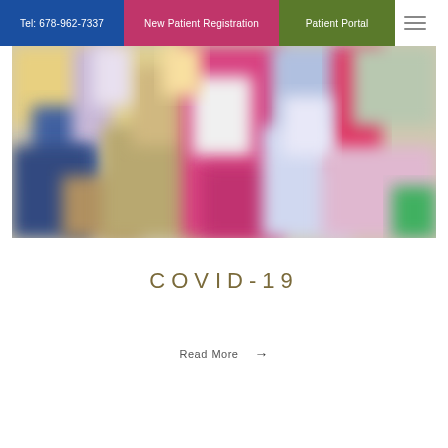Tel: 678-962-7337 | New Patient Registration | Patient Portal
[Figure (photo): Blurred colorful image showing people in a medical or community setting with bright colors including pink, yellow, blue, and green]
COVID-19
Read More →